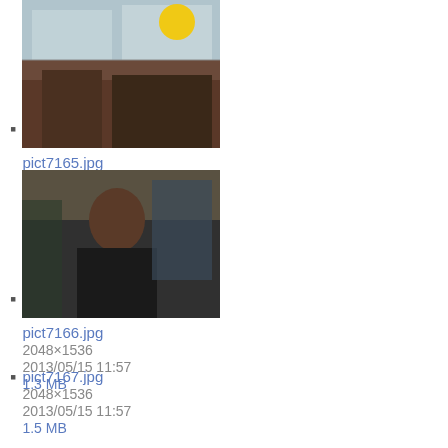pict7165.jpg
2048×1536
2013/05/15 11:57
1.5 MB
pict7166.jpg
2048×1536
2013/05/15 11:57
1.3 MB
pict7167.jpg
2048×1536
2013/05/15 11:57
1.5 MB
pict7168.jpg
2048×1536
2013/05/15 11:57